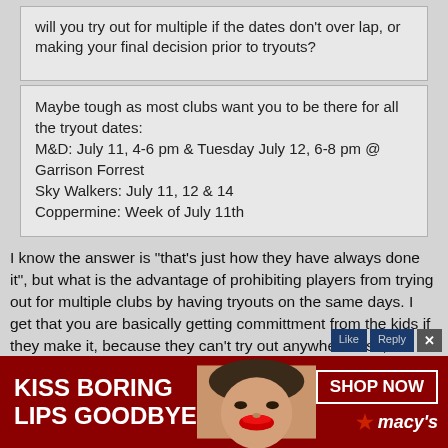will you try out for multiple if the dates don't over lap, or making your final decision prior to tryouts?
Maybe tough as most clubs want you to be there for all the tryout dates:
M&D: July 11, 4-6 pm & Tuesday July 12, 6-8 pm @ Garrison Forrest
Sky Walkers: July 11, 12 & 14
Coppermine: Week of July 11th
I know the answer is "that's just how they have always done it", but what is the advantage of prohibiting players from trying out for multiple clubs by having tryouts on the same days. I get that you are basically getting committment from the kids if they make it, because they can't try out anywhere else, but don't they also miss out on some potential talent?
[Figure (photo): Advertisement banner for Macy's cosmetics: red background with 'KISS BORING LIPS GOODBYE' text, image of woman's face with red lips, SHOP NOW button, and Macy's logo with star.]